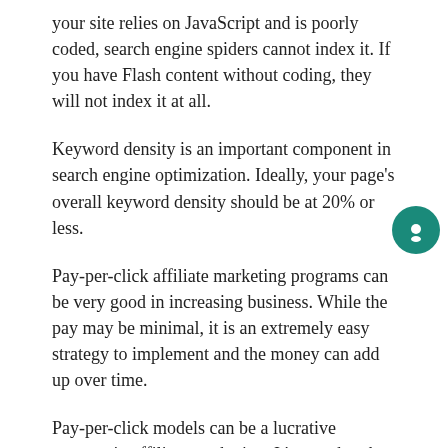your site relies on JavaScript and is poorly coded, search engine spiders cannot index it. If you have Flash content without coding, they will not index it at all.
Keyword density is an important component in search engine optimization. Ideally, your page’s overall keyword density should be at 20% or less.
Pay-per-click affiliate marketing programs can be very good in increasing business. While the pay may be minimal, it is an extremely easy strategy to implement and the money can add up over time.
Pay-per-click models can be a lucrative strategy in affiliate marketing. It’s true that the amount paid per click is a relatively small amount, but this can quickly accumulate into sizable earnings and it’s an easy service to set up.